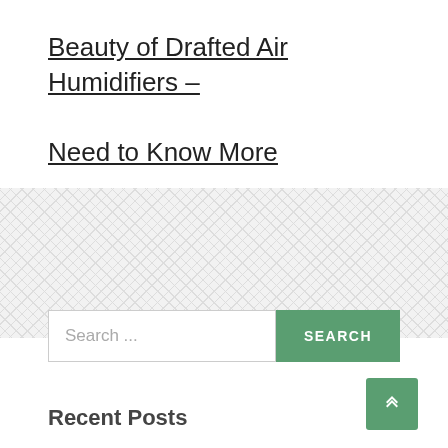Beauty of Drafted Air Humidifiers – Need to Know More
[Figure (other): Decorative zigzag/chevron pattern background area]
Search ...
Recent Posts